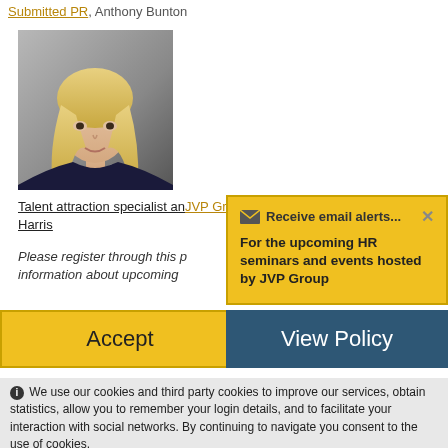Submitted PR, Anthony Bunton
[Figure (photo): Professional headshot of a blonde woman in a dark top, grey background]
Talent attraction specialist and company JVP Group, Cath Harris
Please register through this page for information about upcoming...
✉ Receive email alerts...

For the upcoming HR seminars and events hosted by JVP Group
Accept
View Policy
ℹ We use our cookies and third party cookies to improve our services, obtain statistics, allow you to remember your login details, and to facilitate your interaction with social networks. By continuing to navigate you consent to the use of cookies.